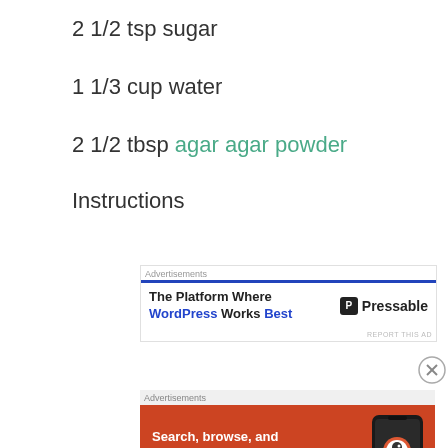2 1/2 tsp sugar
1 1/3 cup water
2 1/2 tbsp agar agar powder
Instructions
[Figure (other): Advertisement banner: 'The Platform Where WordPress Works Best' with Pressable logo and blue bar]
[Figure (other): Advertisement banner: DuckDuckGo 'Search, browse, and email with more privacy. All in One Free App' orange banner with phone mockup]